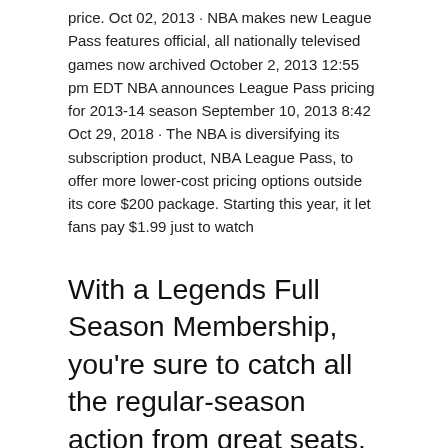price. Oct 02, 2013 · NBA makes new League Pass features official, all nationally televised games now archived October 2, 2013 12:55 pm EDT NBA announces League Pass pricing for 2013-14 season September 10, 2013 8:42 Oct 29, 2018 · The NBA is diversifying its subscription product, NBA League Pass, to offer more lower-cost pricing options outside its core $200 package. Starting this year, it let fans pay $1.99 just to watch
With a Legends Full Season Membership, you're sure to catch all the regular-season action from great seats. Plus, you'll guarantee the same great seat for Postseason basketball. Reserve the very best seat locations for all 2019-20 Texas Legends home